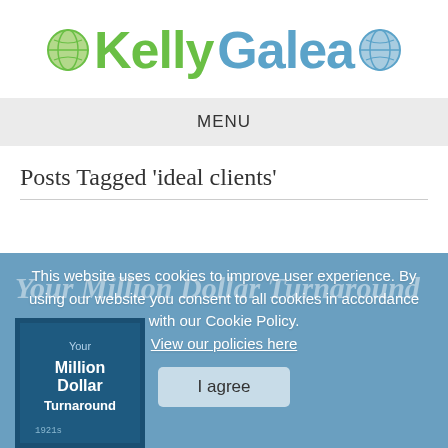Kelly Galea
MENU
Posts Tagged 'ideal clients'
[Figure (other): Blue section with book cover for 'Your Million Dollar Turnaround' and a cookie consent overlay dialog with text and I agree button]
This website uses cookies to improve user experience. By using our website you consent to all cookies in accordance with our Cookie Policy. View our policies here
I agree